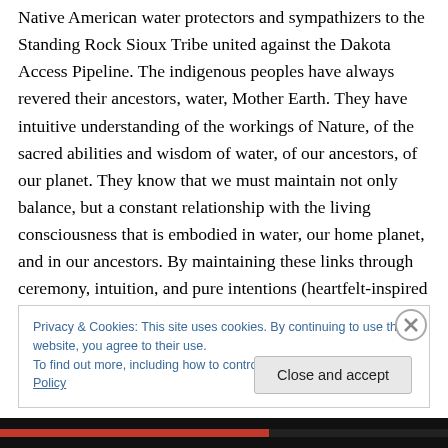Native American water protectors and sympathizers to the Standing Rock Sioux Tribe united against the Dakota Access Pipeline. The indigenous peoples have always revered their ancestors, water, Mother Earth. They have intuitive understanding of the workings of Nature, of the sacred abilities and wisdom of water, of our ancestors, of our planet. They know that we must maintain not only balance, but a constant relationship with the living consciousness that is embodied in water, our home planet, and in our ancestors. By maintaining these links through ceremony, intuition, and pure intentions (heartfelt-inspired
Privacy & Cookies: This site uses cookies. By continuing to use this website, you agree to their use.
To find out more, including how to control cookies, see here: Cookie Policy
Close and accept